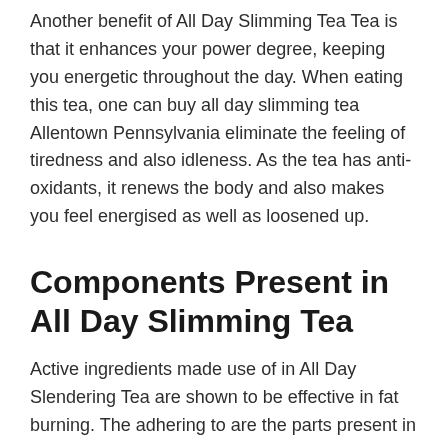Another benefit of All Day Slimming Tea Tea is that it enhances your power degree, keeping you energetic throughout the day. When eating this tea, one can buy all day slimming tea Allentown Pennsylvania eliminate the feeling of tiredness and also idleness. As the tea has anti-oxidants, it renews the body and also makes you feel energised as well as loosened up.
Components Present in All Day Slimming Tea
Active ingredients made use of in All Day Slendering Tea are shown to be effective in fat burning. The adhering to are the parts present in